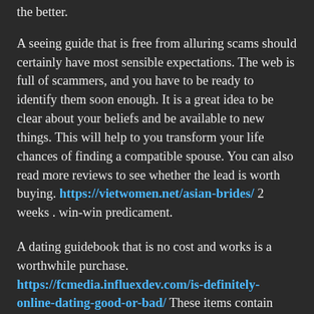the better.
A seeing guide that is free from alluring scams should certainly have most sensible expectations. The web is full of scammers, and you have to be ready to identify them soon enough. It is a great idea to be clear about your beliefs and be available to new things. This will help to you transform your life chances of finding a compatible spouse. You can also read more reviews to see whether the lead is worth buying. https://vietwomen.net/asian-brides/ 2 weeks . win-win predicament.
A dating guidebook that is no cost and works is a worthwhile purchase. https://fcmedia.influexdev.com/is-definitely-online-dating-good-or-bad/ These items contain data about how exactly to meet a partner online and steps to make the most of it. It also provides you with an advantage over other lonely hearts in the field. The tips presented here are applied to any romance you're trying to find. The web is